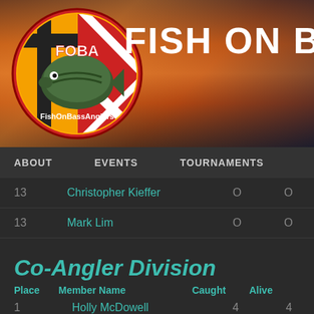[Figure (logo): FOBA FishOnBassAnglers circular logo with Maryland flag background and bass fish, with text 'FishOnBassAnglers']
FISH ON B
ABOUT   EVENTS   TOURNAMENTS
| Place | Member Name | Caught | Alive |
| --- | --- | --- | --- |
| 13 | Christopher Kieffer | 0 | 0 |
| 13 | Mark Lim | 0 | 0 |
| 13 | Marty Richards | 0 | 0 |
Co-Angler Division
| Place | Member Name | Caught | Alive |
| --- | --- | --- | --- |
| 1 | Holly McDowell | 4 | 4 |